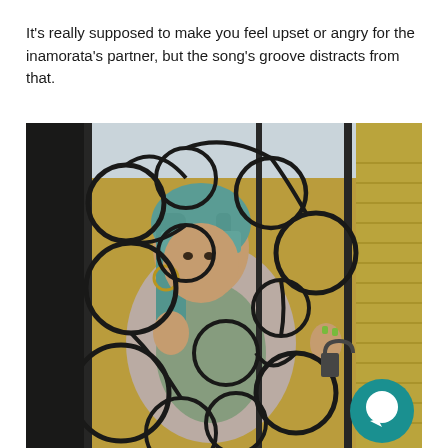It's really supposed to make you feel upset or angry for the inamorata's partner, but the song's groove distracts from that.
[Figure (photo): A young woman with teal/blue hair and hoop earrings, wearing a light-colored open jacket over a green top, standing behind an ornate black wrought-iron gate with swirling circular patterns. The background shows a yellow-painted wooden building exterior. A teal chat bubble icon appears in the bottom-right corner of the image.]